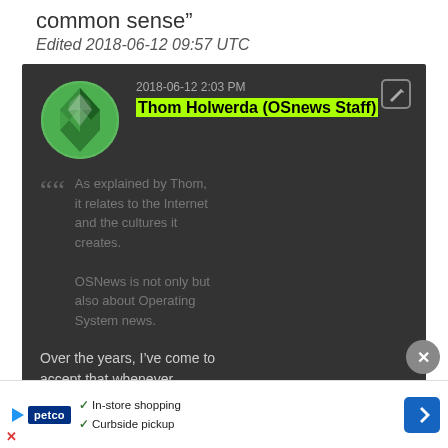common sense”
Edited 2018-06-12 09:57 UTC
[Figure (screenshot): Dark-themed comment card from OSNews showing user avatar (green diamond logo), timestamp 2018-06-12 2:03 PM, author Thom Holwerda (OSnews Staff) highlighted in green, a blockquote: 'As explained by Thom, it relates to the Internet and the cultures it creates. OSNews is not only but also about Operating System news.' followed by text: 'Over the years, I've come to accept that whenever']
[Figure (screenshot): Petco advertisement banner at bottom: In-store shopping, Curbside pickup]